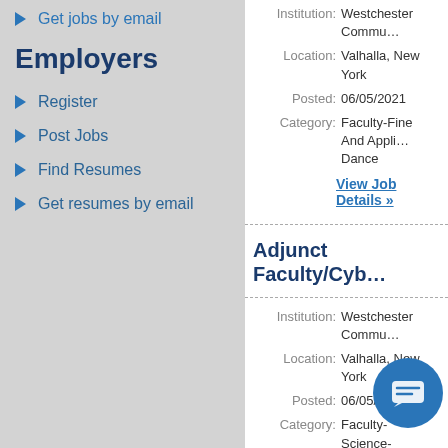▶ Get jobs by email
Employers
▶ Register
▶ Post Jobs
▶ Find Resumes
▶ Get resumes by email
Institution: Westchester Commu...
Location: Valhalla, New York
Posted: 06/05/2021
Category: Faculty-Fine And Appli... Dance
View Job Details »
Adjunct Faculty/Cyb...
Institution: Westchester Commu...
Location: Valhalla, New York
Posted: 06/05/2021
Category: Faculty-Science-Comp...
View Job Details »
Adjunct Facu... on...
Institution: Westchester Commu...